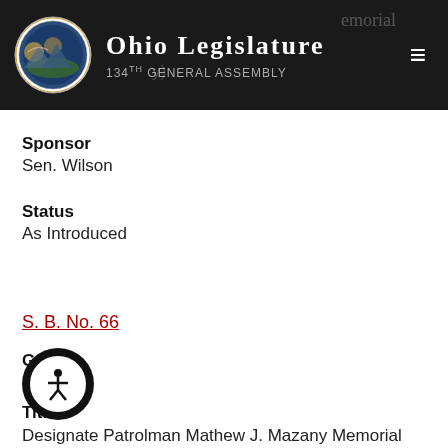Ohio Legislature 134th General Assembly
Sponsor
Sen. Wilson
Status
As Introduced
S. B. No. 66
GA
133
Title
Designate Patrolman Mathew J. Mazany Memorial Highway
Sponsor
Sen. [obscured]
Sen. [obscured]d
Status